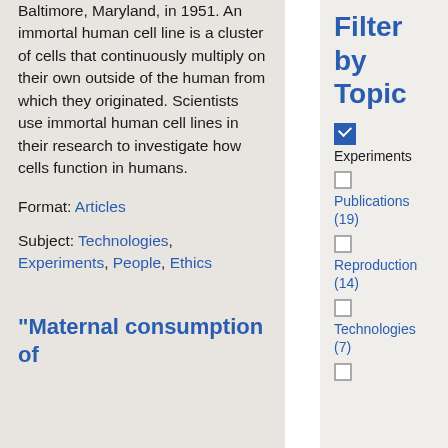Baltimore, Maryland, in 1951. An immortal human cell line is a cluster of cells that continuously multiply on their own outside of the human from which they originated. Scientists use immortal human cell lines in their research to investigate how cells function in humans.
Format: Articles
Subject: Technologies, Experiments, People, Ethics
"Maternal consumption of
Filter by Topic
Experiments (checked)
Publications (19)
Reproduction (14)
Technologies (7)